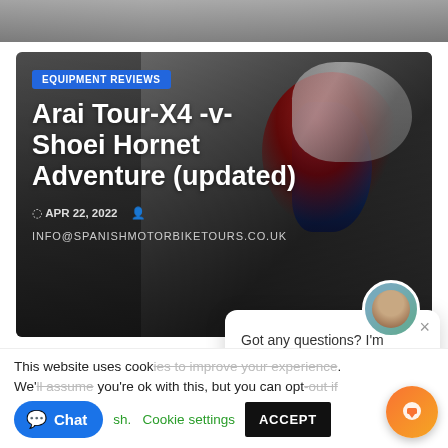[Figure (screenshot): Top strip of a webpage showing partial image at the top]
[Figure (photo): Article card image showing motorcycle helmets with text overlay. Badge: EQUIPMENT REVIEWS. Title: Arai Tour-X4 -v- Shoei Hornet Adventure (updated). Date: APR 22, 2022. Email: INFO@SPANISHMOTORBIKETOURS.CO.UK]
Arai Tour-X4 -v- Shoei Hornet Adventure (updated)
APR 22, 2022
INFO@SPANISHMOTORBIKETOURS.CO.UK
[Figure (photo): Thumbnail image of motorcycle/rider in bottom left]
[Figure (screenshot): Chat popup with avatar showing 'Got any questions? I'm happy to help.']
Got any questions? I'm happy to help.
This website uses cookies to improve your experience. We'll assume you're ok with this, but you can opt-out if you wish.
Cookie settings
ACCEPT